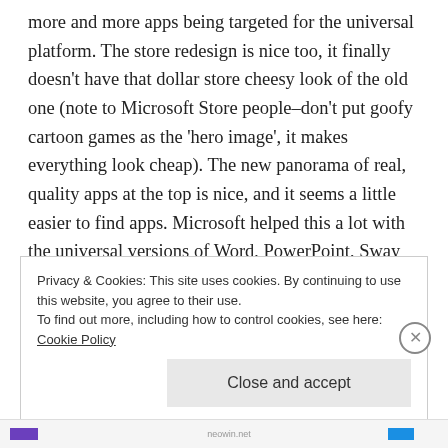more and more apps being targeted for the universal platform. The store redesign is nice too, it finally doesn't have that dollar store cheesy look of the old one (note to Microsoft Store people–don't put goofy cartoon games as the 'hero image', it makes everything look cheap). The new panorama of real, quality apps at the top is nice, and it seems a little easier to find apps. Microsoft helped this a lot with the universal versions of Word, PowerPoint, Sway and Excel (not so fast OneNote–we'll get to you!). They've shown you can do more information dense productivity applications.
Privacy & Cookies: This site uses cookies. By continuing to use this website, you agree to their use.
To find out more, including how to control cookies, see here: Cookie Policy
[Close and accept]